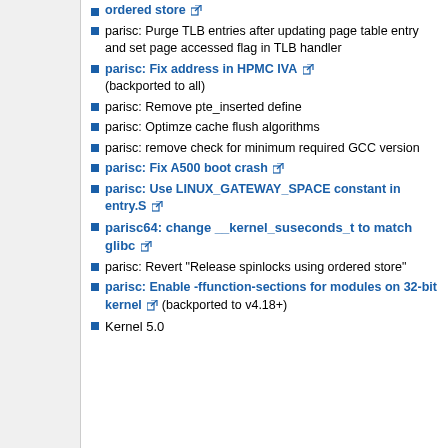parisc: Release spinlocks using ordered store (link, external)
parisc: Purge TLB entries after updating page table entry and set page accessed flag in TLB handler
parisc: Fix address in HPMC IVA (link, external) (backported to all)
parisc: Remove pte_inserted define
parisc: Optimze cache flush algorithms
parisc: remove check for minimum required GCC version
parisc: Fix A500 boot crash (link, external)
parisc: Use LINUX_GATEWAY_SPACE constant in entry.S (link, external)
parisc64: change __kernel_suseconds_t to match glibc (link, external)
parisc: Revert "Release spinlocks using ordered store"
parisc: Enable -ffunction-sections for modules on 32-bit kernel (link, external) (backported to v4.18+)
Kernel 5.0